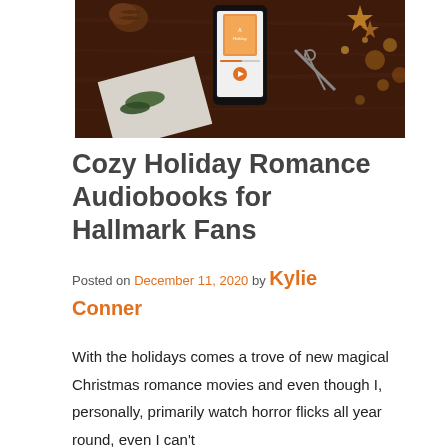[Figure (photo): Overhead shot of a dark wooden table with a smartphone displaying an audiobook app, pine cones, Christmas star decorations, scissors, and festive greenery with warm bokeh lights]
Cozy Holiday Romance Audiobooks for Hallmark Fans
Posted on December 11, 2020 by Kylie Conner
With the holidays comes a trove of new magical Christmas romance movies and even though I, personally, primarily watch horror flicks all year round, even I can't